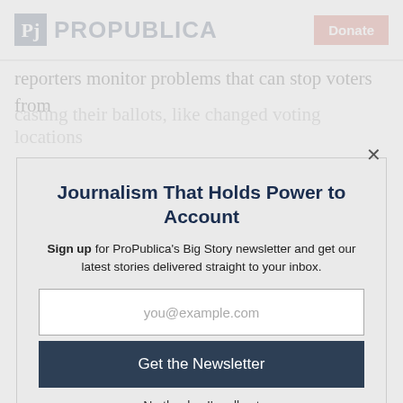ProPublica | Donate
reporters monitor problems that can stop voters from casting their ballots, like changed voting locations
Journalism That Holds Power to Account
Sign up for ProPublica's Big Story newsletter and get our latest stories delivered straight to your inbox.
you@example.com
Get the Newsletter
No thanks, I'm all set
This site is protected by reCAPTCHA and the Google Privacy Policy and Terms of Service apply.